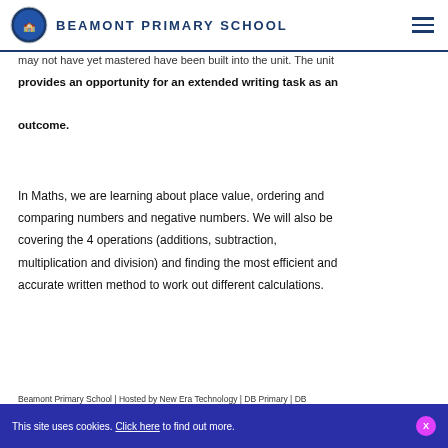BEAMONT PRIMARY SCHOOL
may not have yet mastered have been built into the unit. The unit provides an opportunity for an extended writing task as an outcome.
In Maths, we are learning about place value, ordering and comparing numbers and negative numbers. We will also be covering the 4 operations (additions, subtraction, multiplication and division) and finding the most efficient and accurate written method to work out different calculations.
Beamont Primary School | Hosted by New Era Technology | DB Primary | DB
This site uses cookies. Click here to find out more.